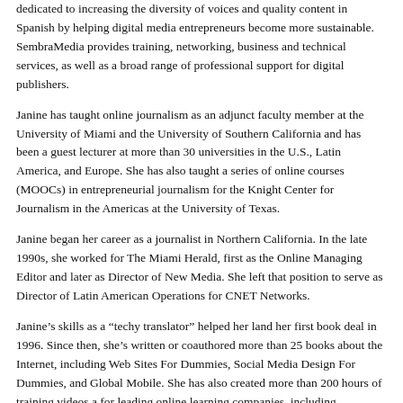dedicated to increasing the diversity of voices and quality content in Spanish by helping digital media entrepreneurs become more sustainable. SembraMedia provides training, networking, business and technical services, as well as a broad range of professional support for digital publishers.
Janine has taught online journalism as an adjunct faculty member at the University of Miami and the University of Southern California and has been a guest lecturer at more than 30 universities in the U.S., Latin America, and Europe. She has also taught a series of online courses (MOOCs) in entrepreneurial journalism for the Knight Center for Journalism in the Americas at the University of Texas.
Janine began her career as a journalist in Northern California. In the late 1990s, she worked for The Miami Herald, first as the Online Managing Editor and later as Director of New Media. She left that position to serve as Director of Latin American Operations for CNET Networks.
Janine’s skills as a “techy translator” helped her land her first book deal in 1996. Since then, she’s written or coauthored more than 25 books about the Internet, including Web Sites For Dummies, Social Media Design For Dummies, and Global Mobile. She has also created more than 200 hours of training videos a for leading online learning companies, including Lynda.com, CreativeLive, and KelbyOne.
Before launching SembraMedia, she ran her own consulting firm